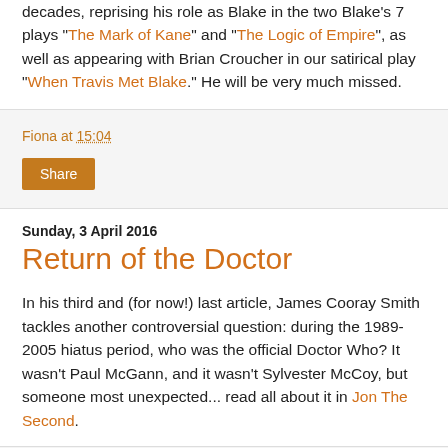decades, reprising his role as Blake in the two Blake's 7 plays "The Mark of Kane" and "The Logic of Empire", as well as appearing with Brian Croucher in our satirical play "When Travis Met Blake." He will be very much missed.
Fiona at 15:04
Share
Sunday, 3 April 2016
Return of the Doctor
In his third and (for now!) last article, James Cooray Smith tackles another controversial question: during the 1989-2005 hiatus period, who was the official Doctor Who? It wasn't Paul McGann, and it wasn't Sylvester McCoy, but someone most unexpected... read all about it in Jon The Second.
Fiona at 04:46
Share